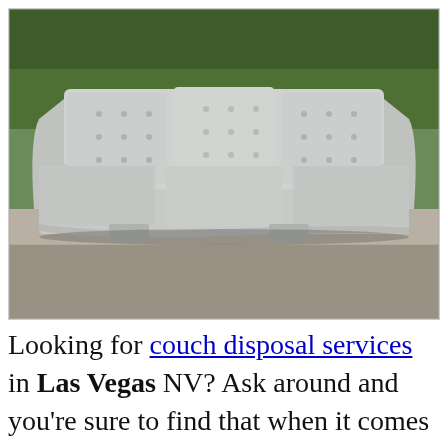[Figure (photo): A gray tufted three-seat sofa/couch sitting on a sidewalk curb outdoors, with green grass and a driveway visible in the background.]
Looking for couch disposal services in Las Vegas NV? Ask around and you're sure to find that when it comes to a couch pickup